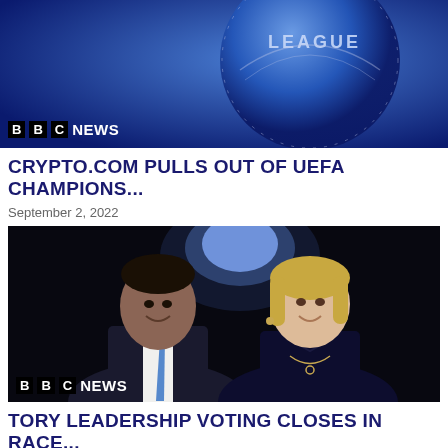[Figure (screenshot): BBC News screenshot showing UEFA Champions League logo on blue background with BBC NEWS overlay logo]
CRYPTO.COM PULLS OUT OF UEFA CHAMPIONS...
September 2, 2022
[Figure (photo): Photo of two people standing on a dark stage with blue spotlight behind them — a man in dark suit with blue tie on the left and a woman with blonde hair in dark top on the right. BBC NEWS logo overlay at bottom left.]
TORY LEADERSHIP VOTING CLOSES IN RACE...